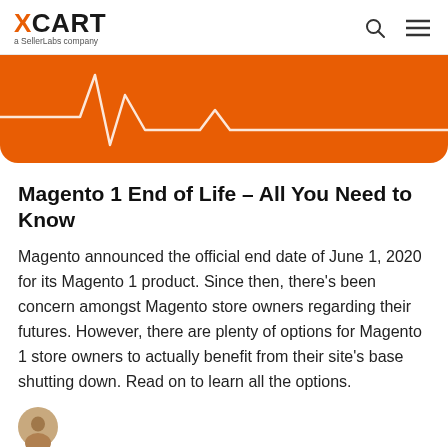XCART – a SellerLabs company
[Figure (illustration): Orange banner with white heart-rate/pulse line waveform graphic on orange background with rounded bottom corners]
Magento 1 End of Life – All You Need to Know
Magento announced the official end date of June 1, 2020 for its Magento 1 product. Since then, there's been concern amongst Magento store owners regarding their futures. However, there are plenty of options for Magento 1 store owners to actually benefit from their site's base shutting down. Read on to learn all the options.
[Figure (photo): Author avatar – small circular portrait photo]